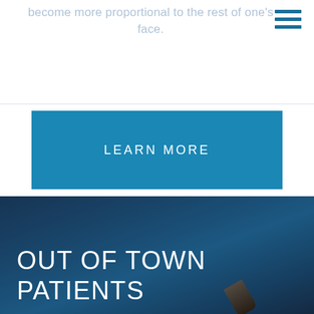become more proportional to the rest of one's face.
[Figure (other): Hamburger menu icon with three horizontal blue lines in the top right corner]
[Figure (other): Teal/blue 'LEARN MORE' call-to-action button]
OUT OF TOWN PATIENTS